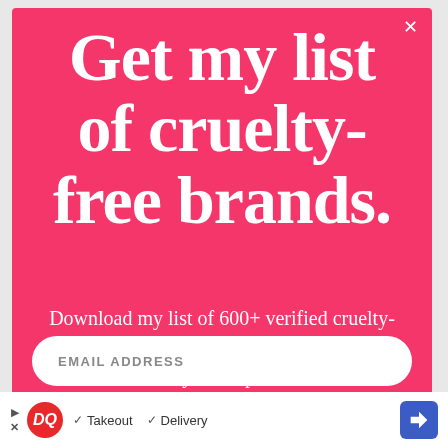Get my list of cruelty-free brands.
Download my list of 600+ verified cruelty-free brands. You'll thank me the next time you shop!
EMAIL ADDRESS
[Figure (infographic): Dairy Queen ad banner with DQ logo, checkmarks for Takeout and Delivery, and a blue navigation arrow button]